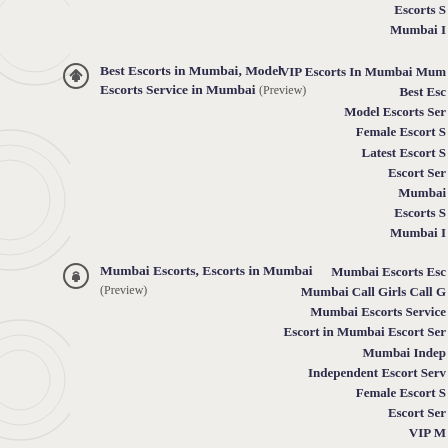Best Escorts in Mumbai, Model Escorts Service in Mumbai (Preview)
Mumbai Escorts, Escorts in Mumbai (Preview)
Escorts S Mumbai I VIP Escorts In Mumbai Mum Best Esc Model Escorts Ser Female Escort S Latest Escort S Escort Ser Mumbai Escorts S Mumbai I
Mumbai Escorts Esc Mumbai Call Girls Call Mumbai Escorts Service Escort in Mumbai Escort Ser Mumbai Indep Independent Escort Serv Female Escort S Escort Ser VIP M Model Escorts Serv Cheap M Mumbai Navi Mumbai I Best escorts in Escort Service In South Mum Escorts In Powai Best Escorts In Bandra Escorts